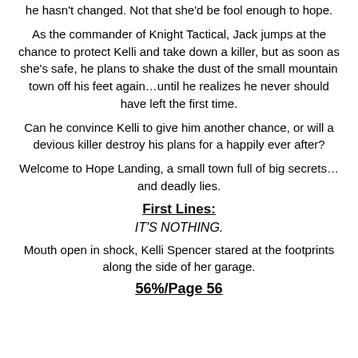he hasn't changed. Not that she'd be fool enough to hope.
As the commander of Knight Tactical, Jack jumps at the chance to protect Kelli and take down a killer, but as soon as she's safe, he plans to shake the dust of the small mountain town off his feet again…until he realizes he never should have left the first time.
Can he convince Kelli to give him another chance, or will a devious killer destroy his plans for a happily ever after?
Welcome to Hope Landing, a small town full of big secrets… and deadly lies.
First Lines:
IT'S NOTHING.
Mouth open in shock, Kelli Spencer stared at the footprints along the side of her garage.
56%/Page 56